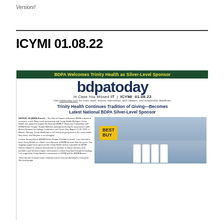Version//
ICYMI 01.08.22
[Figure (screenshot): Screenshot of bdpatoday newsletter dated 01.08.22. Green banner reads 'BDPA Welcomes Trinity Health as Silver-Level Sponsor'. Large logo 'bdpatoday'. Tagline 'In Case You Missed IT | ICYMI 01.08.22'. Headline 'Trinity Health Continues Tradition of Giving—Becomes Latest National BDPA Silver-Level Sponsor'. Body text about Detroit Chapter and Trinity Health Michigan. Photo of people in white coats in front of Best Buy store.]